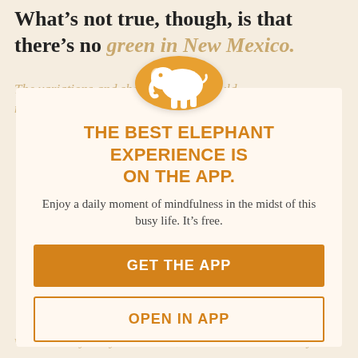What’s not true, though, is that there’s no green in New Mexico.
The variations and shades present would make your eyes water.
[Figure (logo): Orange circle with white elephant silhouette logo for the Elephant app]
THE BEST ELEPHANT EXPERIENCE IS ON THE APP.
Enjoy a daily moment of mindfulness in the midst of this busy life. It’s free.
GET THE APP
OPEN IN APP